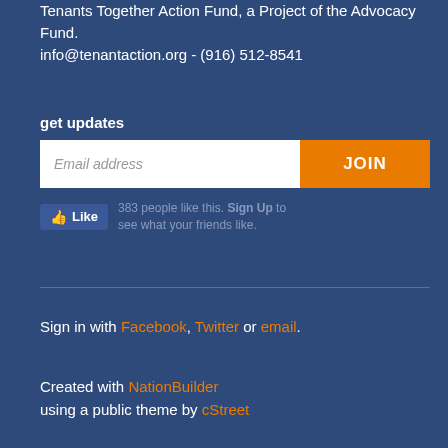Tenants Together Action Fund, a Project of the Advocacy Fund.
info@tenantaction.org - (916) 512-8541
get updates
[Figure (screenshot): Email address input field with orange JOIN button]
[Figure (screenshot): Facebook Like button showing 383 people like this. Sign Up to see what your friends like.]
Sign in with Facebook, Twitter or email.
Created with NationBuilder
using a public theme by cStreet